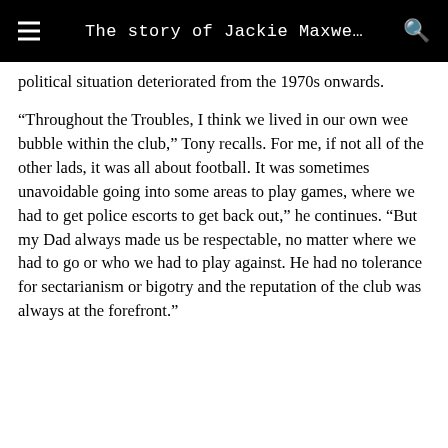The story of Jackie Maxwe…
political situation deteriorated from the 1970s onwards.
“Throughout the Troubles, I think we lived in our own wee bubble within the club,” Tony recalls. For me, if not all of the other lads, it was all about football. It was sometimes unavoidable going into some areas to play games, where we had to get police escorts to get back out,” he continues. “But my Dad always made us be respectable, no matter where we had to go or who we had to play against. He had no tolerance for sectarianism or bigotry and the reputation of the club was always at the forefront.”